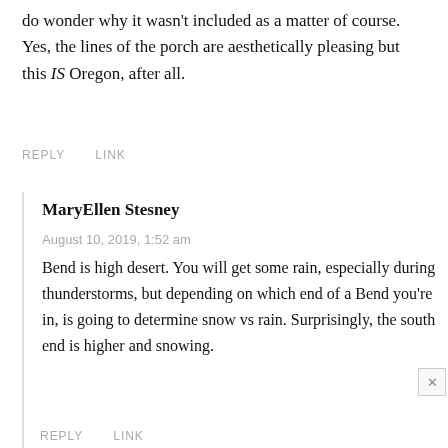do wonder why it wasn't included as a matter of course. Yes, the lines of the porch are aesthetically pleasing but this IS Oregon, after all.
REPLY    LINK
MaryEllen Stesney
August 10, 2019, 1:52 am
Bend is high desert. You will get some rain, especially during thunderstorms, but depending on which end of a Bend you're in, is going to determine snow vs rain. Surprisingly, the south end is higher and snowing.
REPLY    LINK